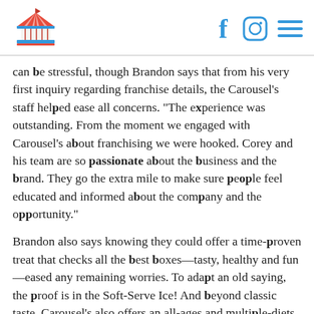Carousel logo, Facebook, Instagram, Menu icons
can be stressful, though Brandon says that from his very first inquiry regarding franchise details, the Carousel's staff helped ease all concerns. "The experience was outstanding. From the moment we engaged with Carousel's about franchising we were hooked. Corey and his team are so passionate about the business and the brand. They go the extra mile to make sure people feel educated and informed about the company and the opportunity."
Brandon also says knowing they could offer a time-proven treat that checks all the best boxes—tasty, healthy and fun—eased any remaining worries. To adapt an old saying, the proof is in the Soft-Serve Ice! And beyond classic taste, Carousel's also offers an all-ages and multiple-diets appeal—our soft serve ice is super creamy, yet dairy-free, with less